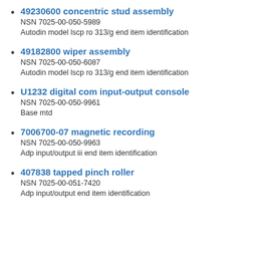49230600 concentric stud assembly
NSN 7025-00-050-5989
Autodin model lscp ro 313/g end item identification
49182800 wiper assembly
NSN 7025-00-050-6087
Autodin model lscp ro 313/g end item identification
U1232 digital com input-output console
NSN 7025-00-050-9961
Base mtd
7006700-07 magnetic recording
NSN 7025-00-050-9963
Adp input/output iii end item identification
407838 tapped pinch roller
NSN 7025-00-051-7420
Adp input/output end item identification